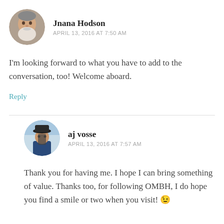[Figure (photo): Circular avatar photo of Jnana Hodson, an older man with white beard]
Jnana Hodson
APRIL 13, 2016 AT 7:50 AM
I'm looking forward to what you have to add to the conversation, too! Welcome aboard.
Reply
[Figure (photo): Circular avatar photo of aj vosse, a man wearing a hat]
aj vosse
APRIL 13, 2016 AT 7:57 AM
Thank you for having me. I hope I can bring something of value. Thanks too, for following OMBH, I do hope you find a smile or two when you visit! 😉